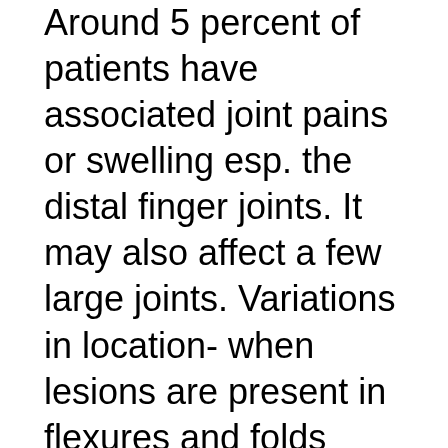Around 5 percent of patients have associated joint pains or swelling esp. the distal finger joints. It may also affect a few large joints. Variations in location- when lesions are present in flexures and folds rather than extensor surfaces are called Flexural psoriasis. When it affects the entire body with intense redness and scaling it is known as Erythrodermic psoriasis. When lesions occurr in areas of excess sebum production like lower chest, scalp, forehead, shoulders etc the scales appear more yellow than silver and is